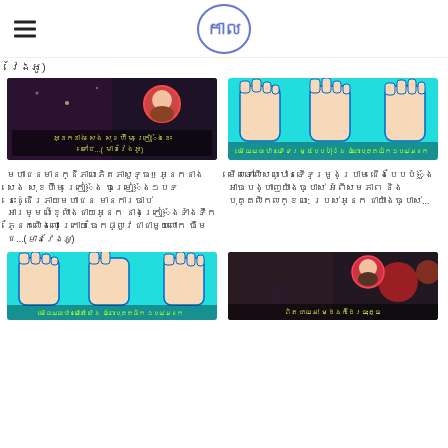កាល់យេ (Khmer news site logo)
វែងអូ)
[Figure (screenshot): Dark nighttime scene with a circular female portrait inset, Khmer text overlay in yellow/green]
មហាជនមានក្ដីភាណភិតភាសូទ្ធ!! អ្នកនាង សេង សុខហ៊ីម ក្រៀ}ំង ចម្រៀ}ំង១បទនេះដ្ដើរភាយមហាជន មានការចាប់អារម្មណ៍ខ្លំាងជាយអ្នក នាងក្រៀ}ំងទាំងទឹកភ្នែកលើងលោះ ក្រោយ ចែកផ្លូវជាជាមួយលោក ចឹម ជ...( មានវែងអូ)
[Figure (illustration): Teal background with illustrated toes/feet shapes and green text overlay in Khmer]
មើលទៅលើសណ្ឋានទើទម្រូងប្រាម ជើងបែបបំ}០ំង អាចបង្ហាញយ៉ាងច្បាស់ អំពីសមភាព និងបុគ្គលិកលក្ខណ: របស់អ្នក ជាយ៉ាងច្បាស់...
[Figure (illustration): Teal background with illustrated toes/feet shapes and green text overlay in Khmer (second instance)]
[Figure (screenshot): Entertainment/party scene with circular couple portrait inset, Khmer text overlay]